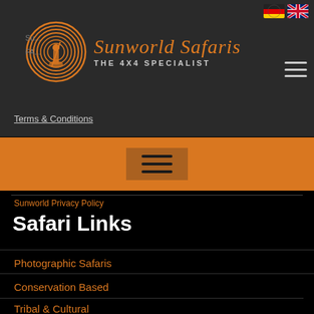[Figure (logo): Sunworld Safaris logo with circular spiral design and silhouette, orange brand name in italic serif font, with subtitle THE 4X4 SPECIALIST]
Terms & Conditions
[Figure (other): Orange navigation banner with hamburger menu icon (three horizontal lines)]
Sunworld Privacy Policy
Safari Links
Photographic Safaris
Conservation Based
Tribal & Cultural
Family Safaris
Featured Safaris